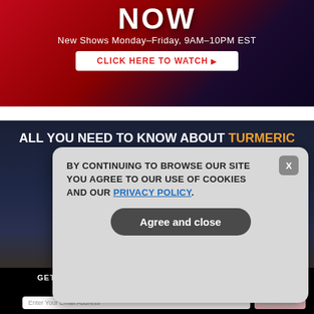[Figure (screenshot): Top banner with 'NOW' text and 'New Shows Monday–Friday, 9AM–10PM EST' with a 'CLICK HERE TO WATCH' button on a red-to-dark-blue gradient background]
[Figure (screenshot): Health Ranger Store advertisement: 'ALL YOU NEED TO KNOW ABOUT TURMERIC AND THE POWER OF CURCUMIN' with Health Ranger Store logo and a white product bag on dark background]
[Figure (screenshot): Cookie consent popup overlay: 'BY CONTINUING TO BROWSE OUR SITE YOU AGREE TO OUR USE OF COOKIES AND OUR PRIVACY POLICY.' with 'Agree and close' button and X close button]
GET THE WORLD'S BEST NATURAL HEALTH NEWSLETTER DELIVERED STRAIGHT TO YOUR INBOX
Enter Your Email Address
SUBSCRIBE